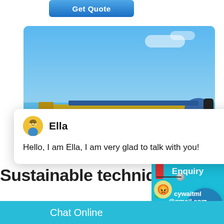[Figure (screenshot): Get Quote button - blue gradient button at top left]
[Figure (photo): Industrial conveyor belt machinery against blue sky with ground below]
[Figure (screenshot): Chat popup with avatar of Ella, close button, and message: Hello, I am Ella, I am very glad to talk with you!]
Sustainable techniqu
[Figure (screenshot): Live chat widget on right side with emoji face, circle showing '1', 'Click me to chat >>' bubble, Enquiry label, and cywaitml@gmail.com]
Chat Online
Enquiry
cywaitml@gmail.com